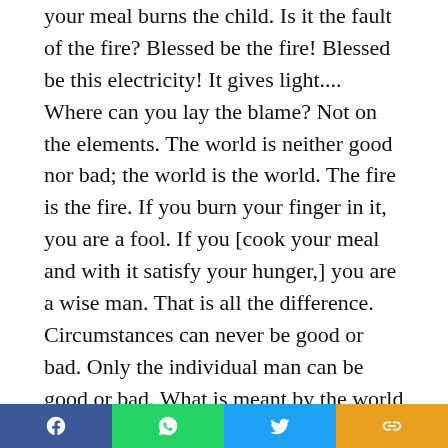your meal burns the child. Is it the fault of the fire? Blessed be the fire! Blessed be this electricity! It gives light.... Where can you lay the blame? Not on the elements. The world is neither good nor bad; the world is the world. The fire is the fire. If you burn your finger in it, you are a fool. If you [cook your meal and with it satisfy your hunger,] you are a wise man. That is all the difference. Circumstances can never be good or bad. Only the individual man can be good or bad. What is meant by the world being good or bad? Misery and happiness can only belong to the sensuous individual man.

The Yogis say that nature is the enjoyed; the soul
[Figure (other): Social media sharing bar with Facebook, WhatsApp, Twitter, and a link/share button]